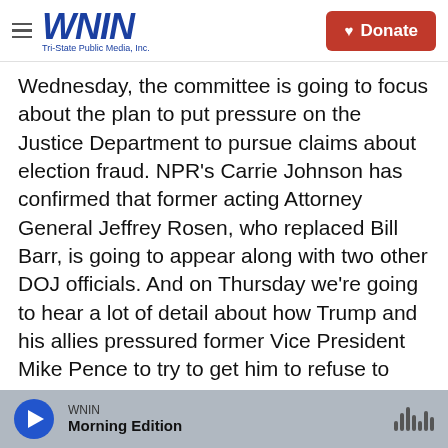WNIN — Tri-State Public Media, Inc. | Donate
Wednesday, the committee is going to focus about the plan to put pressure on the Justice Department to pursue claims about election fraud. NPR's Carrie Johnson has confirmed that former acting Attorney General Jeffrey Rosen, who replaced Bill Barr, is going to appear along with two other DOJ officials. And on Thursday we're going to hear a lot of detail about how Trump and his allies pressured former Vice President Mike Pence to try to get him to refuse to certify the election.
CHANG: OK. So clearly, these hearings are all about, ultimately, one person - former President
WNIN — Morning Edition